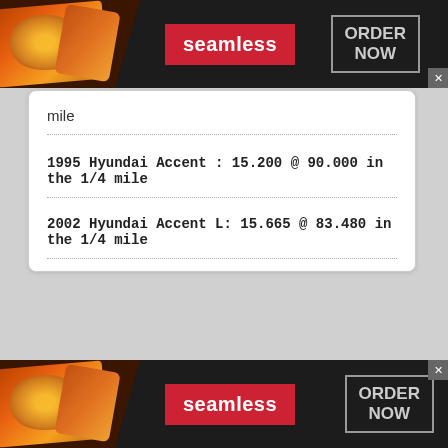[Figure (other): Seamless food delivery ad banner with pizza image, Seamless logo, and ORDER NOW button at top of page]
mile
1995 Hyundai Accent : 15.200 @ 90.000 in the 1/4 mile
2002 Hyundai Accent L: 15.665 @ 83.480 in the 1/4 mile
[Figure (other): Seamless food delivery ad banner with pizza image, Seamless logo, and ORDER NOW button at bottom of page]